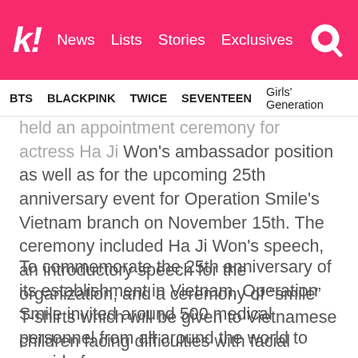k! News  Lists  Stories  Exclusives
BTS   BLACKPINK   TWICE   SEVENTEEN   Girls' Generation
held an appointment ceremony for actress Ha Ji Won's ambassador position as well as for the upcoming 25th anniversary event for Operation Smile's Vietnam branch on November 15th. The ceremony included Ha Ji Won's speech, an introductory speech for the organization, and a ceremony of “smile” T-shirts which will be given to Vietnamese children facing difficulties with facial disfigurements.
To commemorate the 25th anniversary of its establishment in Vietnam, Operation Smile invited around 500 medical personnel from all around the world to provide free